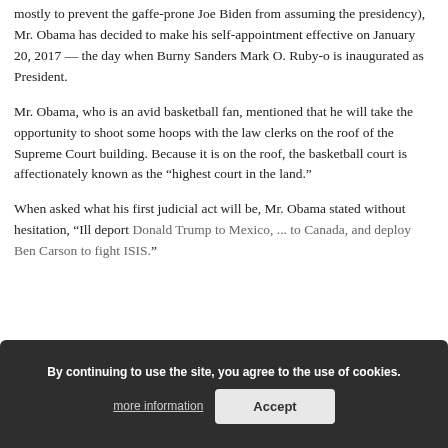mostly to prevent the gaffe-prone Joe Biden from assuming the presidency), Mr. Obama has decided to make his self-appointment effective on January 20, 2017 — the day when Burny Sanders Mark O. Ruby-o is inaugurated as President.
Mr. Obama, who is an avid basketball fan, mentioned that he will take the opportunity to shoot some hoops with the law clerks on the roof of the Supreme Court building. Because it is on the roof, the basketball court is affectionately known as the “highest court in the land.”
When asked what his first judicial act will be, Mr. Obama stated without hesitation, “Ill deport Donald Trump to Mexico, ... to Canada, and deploy Ben Carson to fight ISIS.”
By continuing to use the site, you agree to the use of cookies.